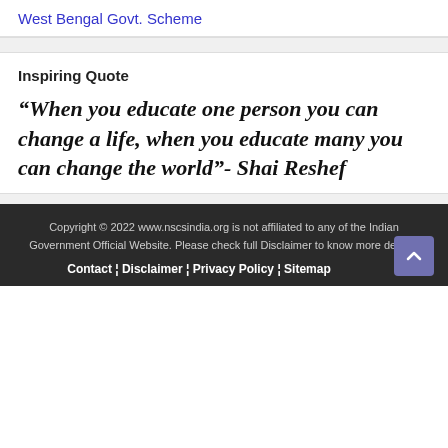West Bengal Govt. Scheme
Inspiring Quote
“When you educate one person you can change a life, when you educate many you can change the world”- Shai Reshef
Copyright © 2022 www.nscsindia.org is not affiliated to any of the Indian Government Official Website. Please check full Disclaimer to know more details. Contact ¦ Disclaimer ¦ Privacy Policy ¦ Sitemap